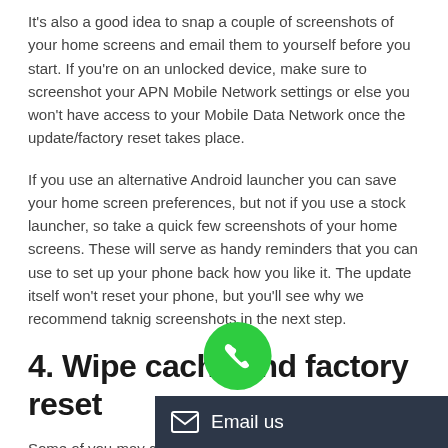It's also a good idea to snap a couple of screenshots of your home screens and email them to yourself before you start. If you're on an unlocked device, make sure to screenshot your APN Mobile Network settings or else you won't have access to your Mobile Data Network once the update/factory reset takes place.
If you use an alternative Android launcher you can save your home screen preferences, but not if you use a stock launcher, so take a quick few screenshots of your home screens. These will serve as handy reminders that you can use to set up your phone back how you like it. The update itself won't reset your phone, but you'll see why we recommend taknig screenshots in the next step.
4. Wipe cache and factory reset
Some of you may claim there… after an Android update that you do…